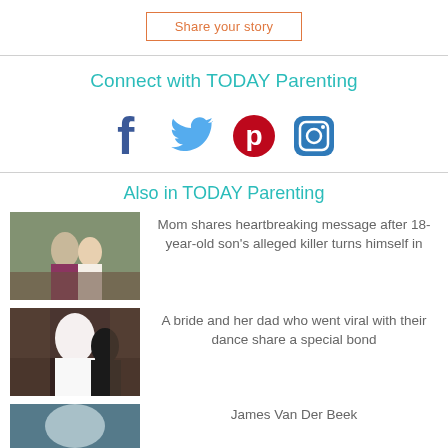Share your story
Connect with TODAY Parenting
[Figure (infographic): Social media icons: Facebook, Twitter, Pinterest, Instagram]
Also in TODAY Parenting
[Figure (photo): Couple standing outdoors in front of a building]
Mom shares heartbreaking message after 18-year-old son's alleged killer turns himself in
[Figure (photo): Bride and father dancing at wedding reception]
A bride and her dad who went viral with their dance share a special bond
[Figure (photo): Partial photo - James Van Der Beek article]
James Van Der Beek